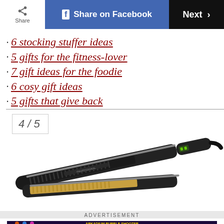Share | Share on Facebook | Next >
6 stocking stuffer ideas
5 gifts for the fitness-lover
7 gift ideas for the foodie
6 cosy gift ideas
5 gifts that give back
4 / 5
[Figure (photo): A black hair straightener/flat iron with ridged plates, shown open at an angle on a white background]
ADVERTISEMENT
[Figure (screenshot): Arkadium Bubble Shooter advertisement banner with colorful bubbles on dark purple background]